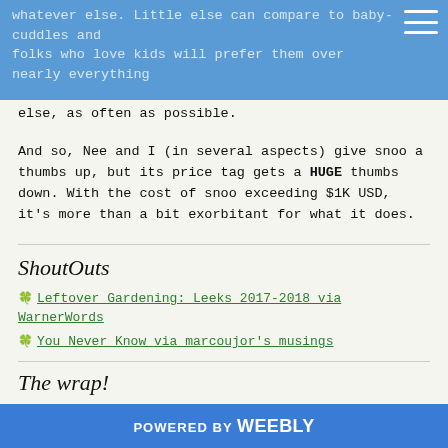whatever else. Little else can compare to baby-cuddles and folks who love kids will prefer them over nearly everything else, as often as possible.
And so, Nee and I (in several aspects) give snoo a thumbs up, but its price tag gets a HUGE thumbs down. With the cost of snoo exceeding $1K USD, it's more than a bit exorbitant for what it does.
ShoutOuts
🍀 Leftover Gardening: Leeks 2017-2018 via WarnerWords
🍀 You Never Know via marcoujor's musings
The wrap!
POWERED BY weebly